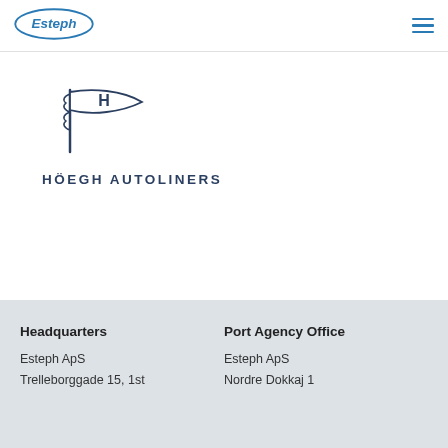Esteph | Höegh Autoliners
[Figure (logo): Höegh Autoliners flag logo with H letter on a waving flag]
HÖEGH AUTOLINERS
Headquarters
Esteph ApS
Trelleborggade 15, 1st
Port Agency Office
Esteph ApS
Nordre Dokkaj 1